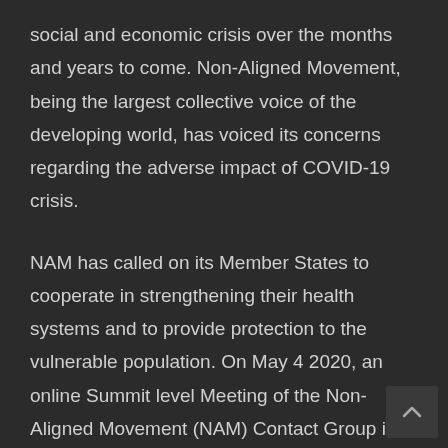social and economic crisis over the months and years to come. Non-Aligned Movement, being the largest collective voice of the developing world, has voiced its concerns regarding the adverse impact of COVID-19 crisis.
NAM has called on its Member States to cooperate in strengthening their health systems and to provide protection to the vulnerable population. On May 4 2020, an online Summit level Meeting of the Non-Aligned Movement (NAM) Contact Group in response to COVID-19, under the theme of “United against COVID-19 pandemic” was held. Following the Summit, NAM adopted a Declaration underlining the importance of international solidarity in the fight against COVID-19.